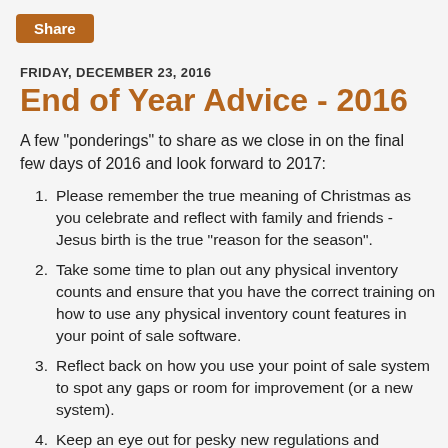[Figure (other): Share button — orange rounded rectangle with white text 'Share']
FRIDAY, DECEMBER 23, 2016
End of Year Advice - 2016
A few "ponderings" to share as we close in on the final few days of 2016 and look forward to 2017:
Please remember the true meaning of Christmas as you celebrate and reflect with family and friends - Jesus birth is the true "reason for the season".
Take some time to plan out any physical inventory counts and ensure that you have the correct training on how to use any physical inventory count features in your point of sale software.
Reflect back on how you use your point of sale system to spot any gaps or room for improvement (or a new system).
Keep an eye out for pesky new regulations and